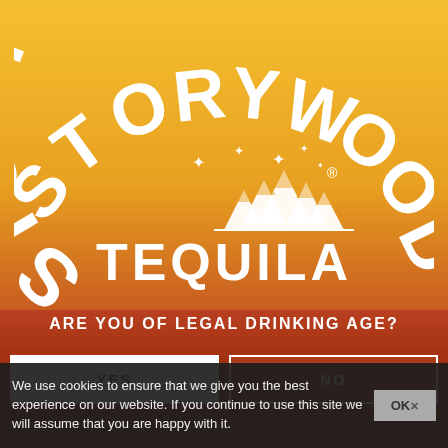[Figure (logo): Storywood Tequila logo with arched white text 'STORYWOOD' on top, mountains with sparkle stars in center, and 'TEQUILA' text below, on golden-orange background]
ARE YOU OF LEGAL DRINKING AGE?
YES
NO
We use cookies to ensure that we give you the best experience on our website. If you continue to use this site we will assume that you are happy with it.
OK